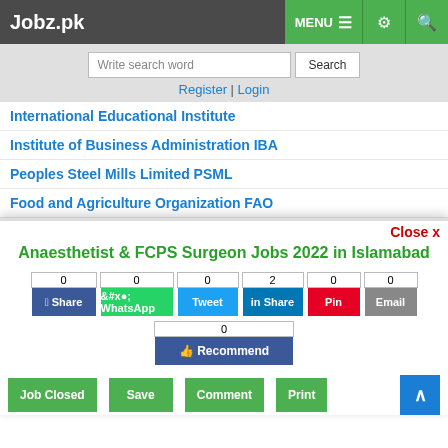Jobz.pk — MENU, settings, search icons
Write search word [Search]
Register | Login
International Educational Institute
Institute of Business Administration IBA
Peoples Steel Mills Limited PSML
Food and Agriculture Organization FAO
Pakistan Oilfield Limited
Construction Firm
Cambridge School System
Anaesthetist & FCPS Surgeon Jobs 2022 in Islamabad
0 Share (Facebook) | 0 WhatsApp | 0 Tweet | 2 Share (LinkedIn) | 0 Pin | 0 Email
0 Recommend (Facebook)
Job Closed | Save | Comment | Print
Close x